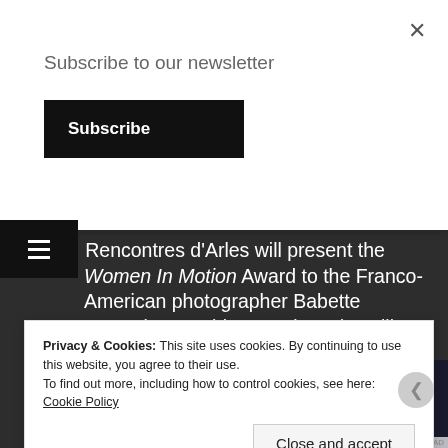Subscribe to our newsletter
Subscribe
Rencontres d'Arles will present the Women In Motion Award to the Franco-American photographer Babette Mangolte. On this occasion, she will present her work and share with the public her journey and her views on the place of women in photography. A
Privacy & Cookies: This site uses cookies. By continuing to use this website, you agree to their use.
To find out more, including how to control cookies, see here: Cookie Policy
Close and accept
[Figure (screenshot): DuckDuckGo advertisement banner: orange left panel with text 'Search, browse, and email with more privacy. All in One Free App' and dark right panel with DuckDuckGo duck logo]